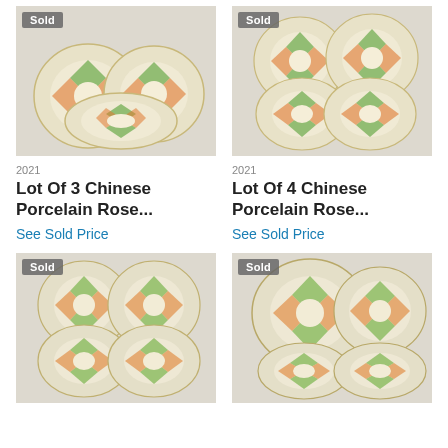[Figure (photo): Three Chinese porcelain rose medallion plates arranged on a light background, with a 'Sold' badge in the top-left corner.]
[Figure (photo): Four Chinese porcelain rose medallion plates arranged on a light background, with a 'Sold' badge in the top-left corner.]
2021
Lot Of 3 Chinese Porcelain Rose...
See Sold Price
2021
Lot Of 4 Chinese Porcelain Rose...
See Sold Price
[Figure (photo): Four Chinese porcelain rose medallion plates on a light background, with a 'Sold' badge in the top-left corner.]
[Figure (photo): Three Chinese porcelain rose medallion plates on a light background, with a 'Sold' badge in the top-left corner.]